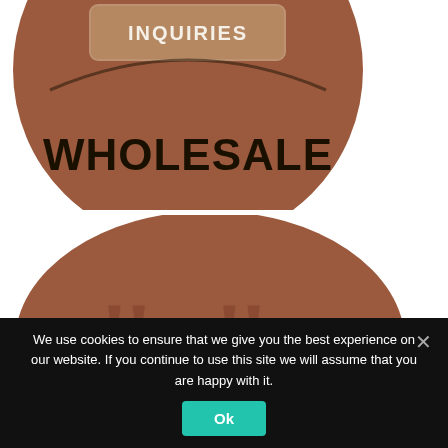[Figure (illustration): Top portion of a circular brown wholesale inquiries badge with text 'INQUIRIES' and 'WHOLESALE' in dark bold letters, partially cropped at top of page]
[Figure (illustration): Oval brown badge with a speech bubble icon and a text box reading 'LEAVE US A GOOGLE REVIEW IF YOU'VE ENJOYED THE CONTENT OR LIKED OUR PRODUCT' in white bold text on a semi-transparent beige rounded rectangle]
We use cookies to ensure that we give you the best experience on our website. If you continue to use this site we will assume that you are happy with it.